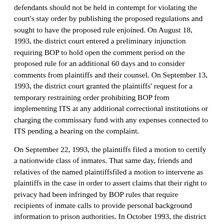defendants should not be held in contempt for violating the court's stay order by publishing the proposed regulations and sought to have the proposed rule enjoined. On August 18, 1993, the district court entered a preliminary injunction requiring BOP to hold open the comment period on the proposed rule for an additional 60 days and to consider comments from plaintiffs and their counsel. On September 13, 1993, the district court granted the plaintiffs' request for a temporary restraining order prohibiting BOP from implementing ITS at any additional correctional institutions or charging the commissary fund with any expenses connected to ITS pending a hearing on the complaint.
On September 22, 1993, the plaintiffs filed a motion to certify a nationwide class of inmates. That same day, friends and relatives of the named plaintiffsfiled a motion to intervene as plaintiffs in the case in order to assert claims that their right to privacy had been infringed by BOP rules that require recipients of inmate calls to provide personal background information to prison authorities. In October 1993, the district court granted the plaintiff's motion and expanded the case from a lawsuit affecting FMC Lexington to a nationwide class action.
On October 13, 1993, the district court enjoined BOP from spending any commissary funds on the new telephone